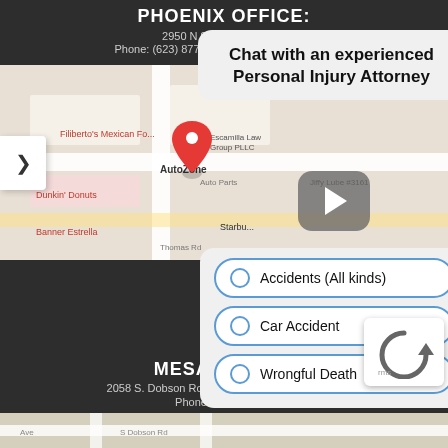PHOENIX OFFICE:
2950 N 91st Ave. Suite ...
Phone: (623) 877-3000 Fax: (623) 877-3006
[Figure (map): Google Maps view showing location near Filiberto's Mexican Food, AutoZone, Dunkin' Donuts, and Banner Estrella. Red map pin marking law office location (Escamilla Law Group PLLC). Navigation arrow on left side.]
[Figure (screenshot): Chat widget overlay with title 'Chat with an experienced Personal Injury Attorney' and a video play button]
[Figure (infographic): Chat options panel with three radio-style buttons: Accidents (All kinds), Car Accident, Wrongful Death]
MESA OFFICE:
2058 S. Dobson Road Suite #1 Mesa, AZ 85202
Phone: (623) 877-...